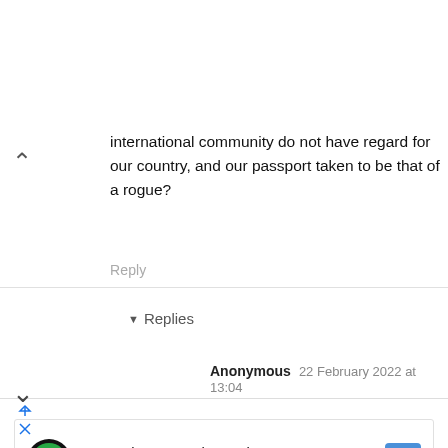international community do not have regard for our country, and our passport taken to be that of a rogue?
Reply
▾ Replies
Anonymous 22 February 2022 at 13:04
If it was in a sane country, all the cases this man has ever handled will be under serious REVIEW.
[Figure (infographic): Advertisement banner: Save Big on Goodyear Tires - Virginia Tire & Auto of Ashburn ... with logo and navigation arrow icon]